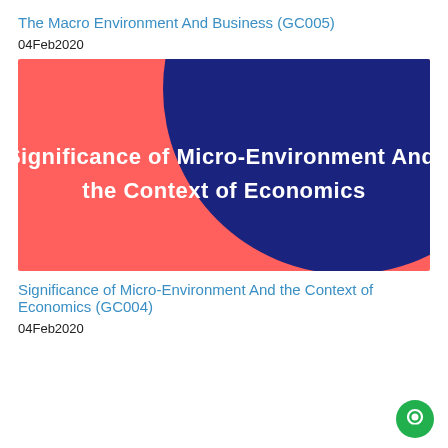The Macro Environment And Business (GC005)
04Feb2020
[Figure (illustration): Slide thumbnail with red/coral background and large dark navy blue circle. White bold text reads: Significance of Micro-Environment And the Context of Economics]
Significance of Micro-Environment And the Context of Economics (GC004)
04Feb2020